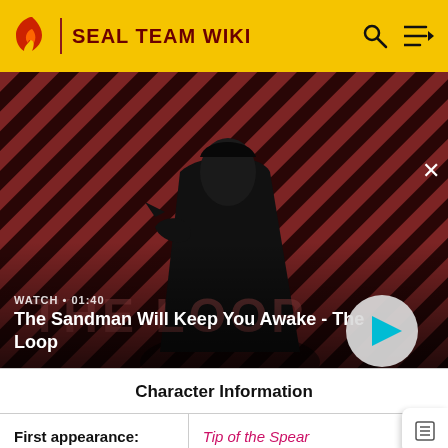SEAL TEAM WIKI
[Figure (screenshot): Video thumbnail showing a dark-robed figure with a bird on shoulder against a red and black diagonal stripe background. Title card reads 'The Loop'. Overlay shows WATCH • 01:40 and title 'The Sandman Will Keep You Awake - The Loop' with a play button.]
| Character Information |
| --- |
| First appearance: | Tip of the Spear |
| Portrayed by: | Jessica Paré |
|  | GALLERY |